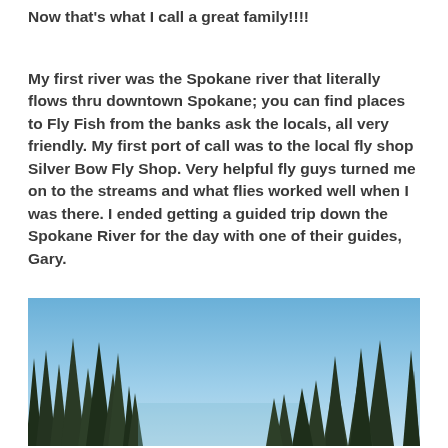Now that's what I call a great family!!!!
My first river was the Spokane river that literally flows thru downtown Spokane; you can find places to Fly Fish from the banks ask the locals, all very friendly. My first port of call was to the local fly shop Silver Bow Fly Shop. Very helpful fly guys turned me on to the streams and what flies worked well when I was there. I ended getting a guided trip down the Spokane River for the day with one of their guides, Gary.
[Figure (photo): Outdoor landscape photo showing tall evergreen/pine trees silhouetted against a clear blue sky, taken from below looking upward.]